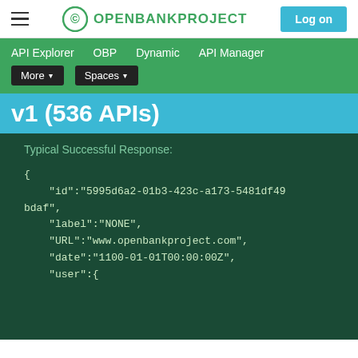OPENBANKPROJECT | Log on
API Explorer  OBP  Dynamic  API Manager  More ▾  Spaces ▾
v1 (536 APIs)
Typical Successful Response:
{
    "id":"5995d6a2-01b3-423c-a173-5481df49bdaf",
    "label":"NONE",
    "URL":"www.openbankproject.com",
    "date":"1100-01-01T00:00:00Z",
    "user":{